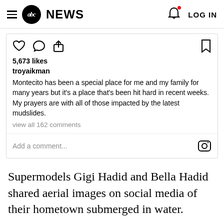abc NEWS  LOG IN
[Figure (screenshot): Instagram post embed showing social action icons (heart, comment, share, bookmark), likes count '5,673 likes', username 'troyaikman', post caption about Montecito mudslides, 'view all 162 comments' link, and 'Add a comment...' field with Instagram camera icon.]
Supermodels Gigi Hadid and Bella Hadid shared aerial images on social media of their hometown submerged in water.